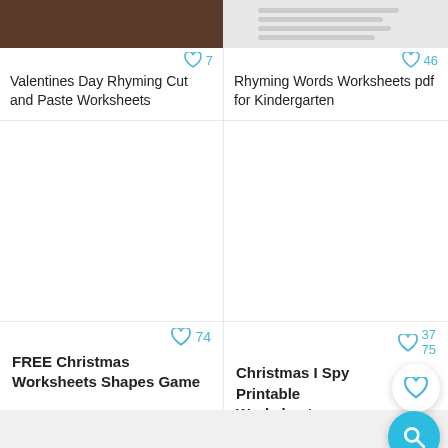[Figure (screenshot): Thumbnail image for Valentines Day Rhyming Cut and Paste Worksheets - dark brown image]
7
Valentines Day Rhyming Cut and Paste Worksheets
[Figure (screenshot): Thumbnail image for Rhyming Words Worksheets pdf for Kindergarten - worksheet preview]
46
Rhyming Words Worksheets pdf for Kindergarten
74
FREE Christmas Worksheets Shapes Game
37
75
Christmas I Spy Printable Worksheets
MORE •••